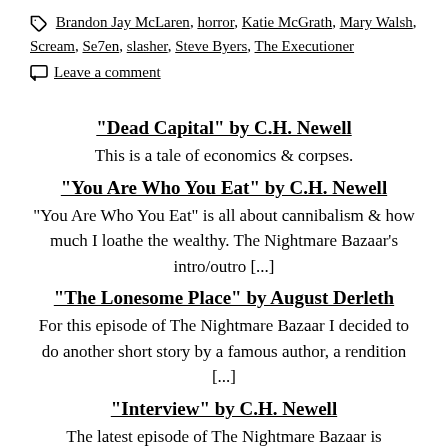Brandon Jay McLaren, horror, Katie McGrath, Mary Walsh, Scream, Se7en, slasher, Steve Byers, The Executioner
Leave a comment
"Dead Capital" by C.H. Newell
This is a tale of economics & corpses.
"You Are Who You Eat" by C.H. Newell
"You Are Who You Eat" is all about cannibalism & how much I loathe the wealthy. The Nightmare Bazaar's intro/outro [...]
"The Lonesome Place" by August Derleth
For this episode of The Nightmare Bazaar I decided to do another short story by a famous author, a rendition [...]
"Interview" by C.H. Newell
The latest episode of The Nightmare Bazaar is "Interview"—an homage to Anne Rice & her vampires, but